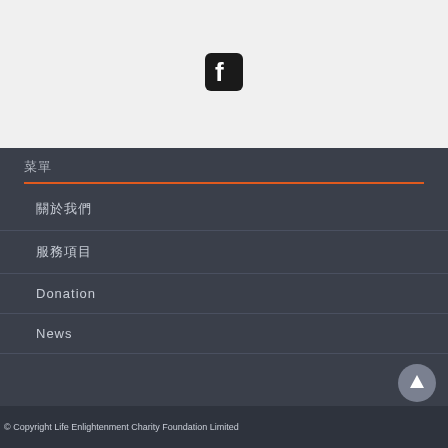[Figure (logo): Facebook icon - white F on dark rounded square background]
菜單
關於我們
服務項目
Donation
News
[Figure (illustration): Scroll to top button - circular dark grey button with upward arrow]
© Copyright Life Enlightenment Charity Foundation Limited